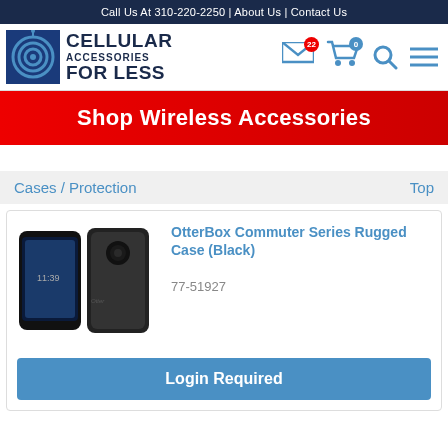Call Us At 310-220-2250 | About Us | Contact Us
[Figure (logo): Cellular Accessories For Less logo with circular antenna icon]
Shop Wireless Accessories
Cases / Protection    Top
[Figure (photo): OtterBox Commuter Series Rugged Case (Black) product photo showing phone with black case front and back view]
OtterBox Commuter Series Rugged Case (Black)
77-51927
Login Required